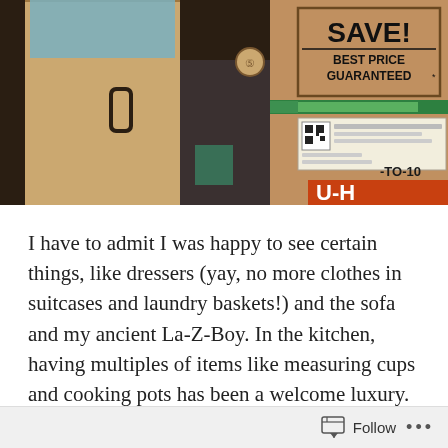[Figure (photo): Photograph of cardboard boxes in a room. On the left is a large pale cardboard box with a handle cutout and a circular symbol. In the background is a dark sofa on carpet. On the right is a large brown cardboard box with 'SAVE! BEST PRICE GUARANTEED*' printed in bold, a green stripe, a shipping label with QR code, and a partial U-Haul logo and partial text.]
I have to admit I was happy to see certain things, like dressers (yay, no more clothes in suitcases and laundry baskets!) and the sofa and my ancient La-Z-Boy. In the kitchen, having multiples of items like measuring cups and cooking pots has been a welcome luxury. I'm also sure I'll
Follow ···